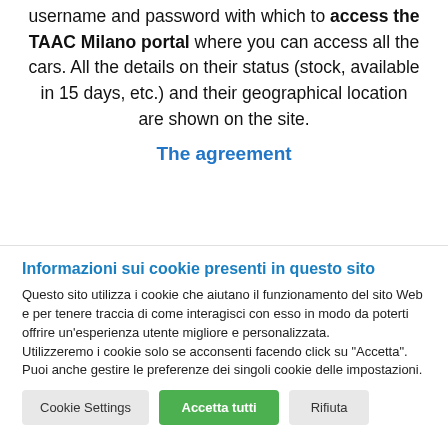username and password with which to access the TAAC Milano portal where you can access all the cars. All the details on their status (stock, available in 15 days, etc.) and their geographical location are shown on the site.
The agreement
[partially visible cut-off text]
Informazioni sui cookie presenti in questo sito
Questo sito utilizza i cookie che aiutano il funzionamento del sito Web e per tenere traccia di come interagisci con esso in modo da poterti offrire un'esperienza utente migliore e personalizzata.
Utilizzeremo i cookie solo se acconsenti facendo click su "Accetta". Puoi anche gestire le preferenze dei singoli cookie delle impostazioni.
Cookie Settings | Accetta tutti | Rifiuta